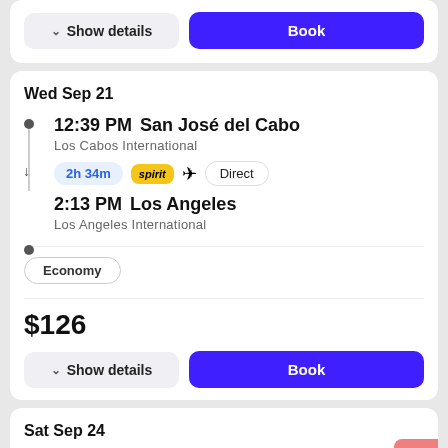Show details | Book
Wed Sep 21
12:39 PM  San José del Cabo
Los Cabos International
2h 34m  spirit  ✈  Direct
2:13 PM  Los Angeles
Los Angeles International
Economy
$126
Show details | Book
Sat Sep 24
12:39 PM  San José del Cabo